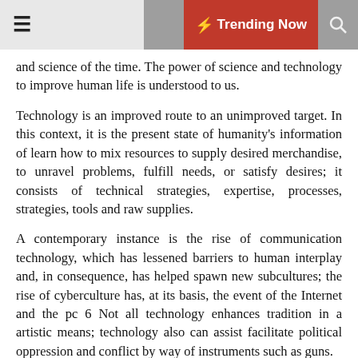☰  🌙  ⚡ Trending Now  🔍
and science of the time. The power of science and technology to improve human life is understood to us.
Technology is an improved route to an unimproved target. In this context, it is the present state of humanity's information of learn how to mix resources to supply desired merchandise, to unravel problems, fulfill needs, or satisfy desires; it consists of technical strategies, expertise, processes, strategies, tools and raw supplies.
A contemporary instance is the rise of communication technology, which has lessened barriers to human interplay and, in consequence, has helped spawn new subcultures; the rise of cyberculture has, at its basis, the event of the Internet and the pc 6 Not all technology enhances tradition in a artistic means; technology also can assist facilitate political oppression and conflict by way of instruments such as guns.